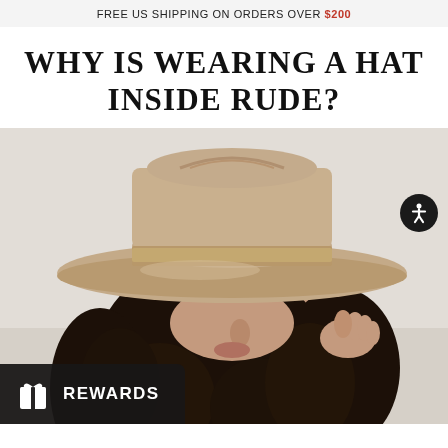FREE US SHIPPING ON ORDERS OVER $200
WHY IS WEARING A HAT INSIDE RUDE?
[Figure (photo): A woman with long curly dark hair wearing a wide-brim beige felt rancher hat, looking down, against a light grey background. She is touching the brim of the hat with one hand. A REWARDS button overlay appears at the bottom left and an accessibility icon at the right.]